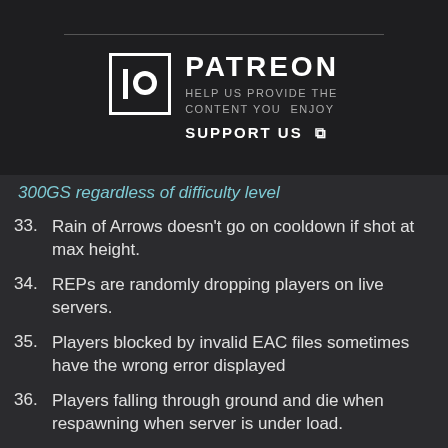[Figure (logo): Patreon logo with text: PATREON, HELP US PROVIDE THE CONTENT YOU ENJOY, SUPPORT US with external link icon]
300GS regardless of difficulty level (partial, cut off at top)
33. Rain of Arrows doesn't go on cooldown if shot at max height.
34. REPs are randomly dropping players on live servers.
35. Players blocked by invalid EAC files sometimes have the wrong error displayed
36. Players falling through ground and die when respawning when server is under load.
37. Player is banned for 20 minutes from Outpost Rush when server restart occurs during the Outpost Rush match.